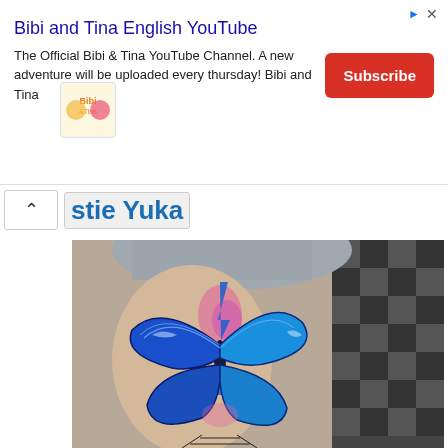[Figure (screenshot): Advertisement banner for 'Bibi and Tina English YouTube' channel with logo, description text, and red Subscribe button]
stie Yuka
[Figure (photo): Photo of a watercolor-style butterfly tattoo in blue, pink and purple colors on a person's side/ribs area. The tattoo features a large blue morpho butterfly with geometric line work above and below it. Background shows a dark checkered pattern on the right side.]